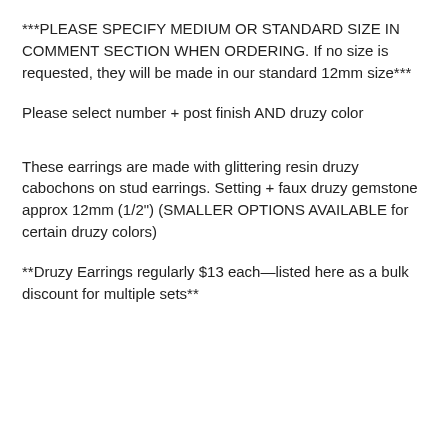***PLEASE SPECIFY MEDIUM OR STANDARD SIZE IN COMMENT SECTION WHEN ORDERING. If no size is requested, they will be made in our standard 12mm size***
Please select number + post finish AND druzy color
These earrings are made with glittering resin druzy cabochons on stud earrings. Setting + faux druzy gemstone approx 12mm (1/2") (SMALLER OPTIONS AVAILABLE for certain druzy colors)
**Druzy Earrings regularly $13 each—listed here as a bulk discount for multiple sets**